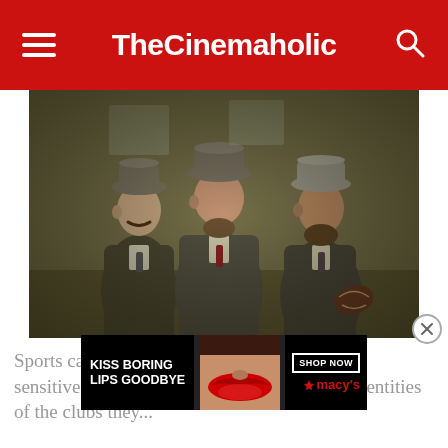TheCinemaholic
[Figure (photo): Three men in Victorian-era suits and bowler hats standing together; the man on the right holds an American football. Vintage/period drama style photograph with muted olive and brown tones.]
[Figure (other): Advertisement banner: 'KISS BORING LIPS GOODBYE' with image of woman with red lips and Macy's logo with 'SHOP NOW' button]
Sports can be very intense; history has witnessed many sporting events that are sensitive, who are extremely attached to the identities of the clubs they...